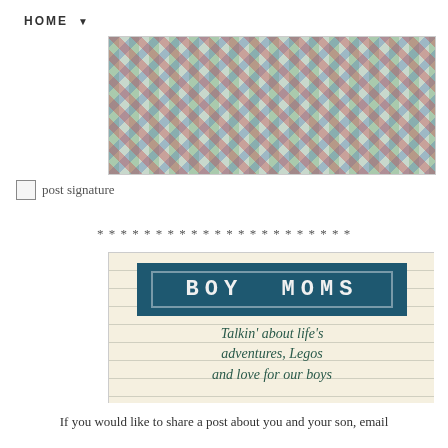HOME ▼
[Figure (photo): Child lying on a colorful patchwork quilt with bare feet visible]
[Figure (illustration): Broken image placeholder labeled 'post signature']
* * * * * * * * * * * * * * * * * * * * * *
[Figure (illustration): Boy Moms logo banner: dark teal header with 'BOY MOMS' text, lined paper background with text 'Talkin\' about life\'s adventures, Legos and love for our boys']
If you would like to share a post about you and your son, email